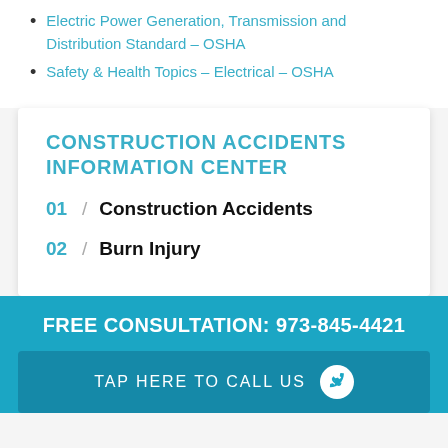Electric Power Generation, Transmission and Distribution Standard – OSHA
Safety & Health Topics – Electrical – OSHA
CONSTRUCTION ACCIDENTS INFORMATION CENTER
01 / Construction Accidents
02 / Burn Injury
FREE CONSULTATION: 973-845-4421
TAP HERE TO CALL US